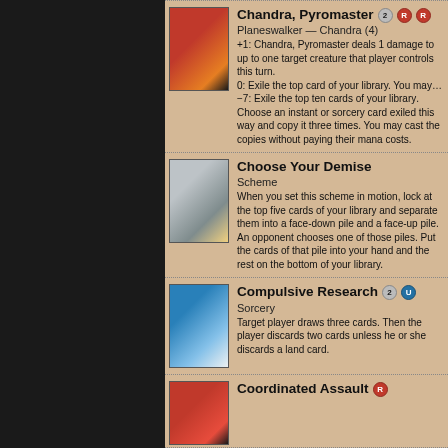[Figure (illustration): Card image for Chandra, Pyromaster - fire-themed planeswalker art]
Chandra, Pyromaster
Planeswalker — Chandra (4)
+1: Chandra, Pyromaster deals 1 damage to up to one target creature that player controls this turn.
0: Exile the top card of your library. You may play it this turn.
−7: Exile the top ten cards of your library. Choose an instant or sorcery card exiled this way and copy it three times. You may cast the copies without paying their mana costs.
[Figure (illustration): Card image for Choose Your Demise - scheme card art]
Choose Your Demise
Scheme
When you set this scheme in motion, look at the top five cards of your library and separate them into a face-down pile and a face-up pile. An opponent chooses one of those piles. Put the cards of that pile into your hand and the rest on the bottom of your library in any order.
[Figure (illustration): Card image for Compulsive Research - blue sorcery card art]
Compulsive Research
Sorcery
Target player draws three cards. Then that player discards two cards unless he or she discards a land card.
[Figure (illustration): Card image for Coordinated Assault - red instant card art]
Coordinated Assault